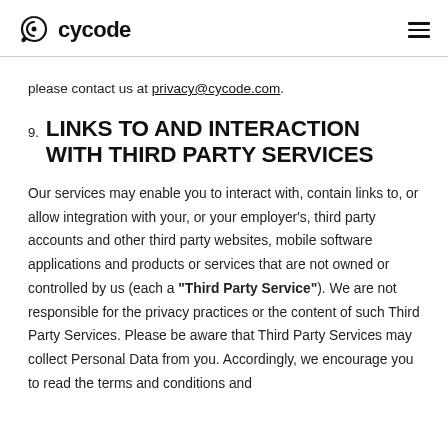cycode
please contact us at privacy@cycode.com.
9. LINKS TO AND INTERACTION WITH THIRD PARTY SERVICES
Our services may enable you to interact with, contain links to, or allow integration with your, or your employer’s, third party accounts and other third party websites, mobile software applications and products or services that are not owned or controlled by us (each a “Third Party Service”). We are not responsible for the privacy practices or the content of such Third Party Services. Please be aware that Third Party Services may collect Personal Data from you. Accordingly, we encourage you to read the terms and conditions and